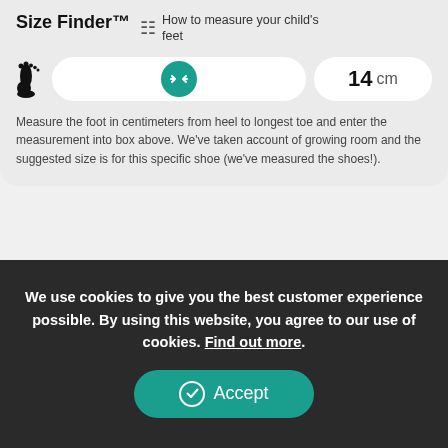Size Finder™
How to measure your child's feet
14 cm
Measure the foot in centimeters from heel to longest toe and enter the measurement into box above. We've taken account of growing room and the suggested size is for this specific shoe (we've measured the shoes!).
⊕ Select a size
[Figure (infographic): Row of payment method logos: Apple Pay, MasterCard, VISA, American Express, Maestro, Google Pay, Klarna]
We use cookies to give you the best customer experience possible. By using this website, you agree to our use of cookies. Find out more.
✓ Accept